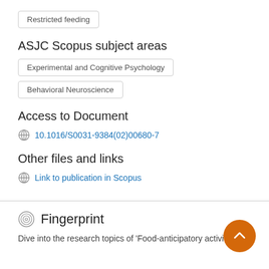Restricted feeding
ASJC Scopus subject areas
Experimental and Cognitive Psychology
Behavioral Neuroscience
Access to Document
10.1016/S0031-9384(02)00680-7
Other files and links
Link to publication in Scopus
Fingerprint
Dive into the research topics of 'Food-anticipatory activity